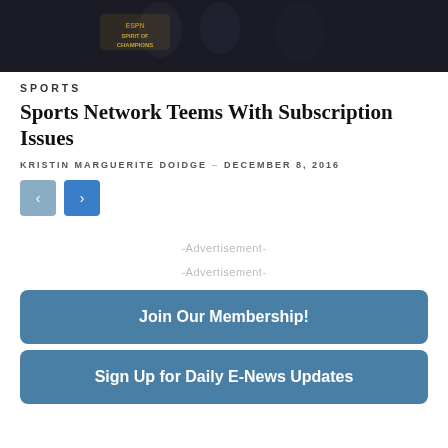[Figure (photo): Sports awards event photo with people in black outfits, ESPN Spirit of Champions logo visible]
SPORTS
Sports Network Teems With Subscription Issues
KRISTIN MARGUERITE DOIDGE — DECEMBER 8, 2016
[Figure (other): Navigation buttons: left arrow (prev) and right arrow (next)]
-Advertisement-
-Advertisement-
Join Our Membership!
Sign Up for Daily E-News Updates